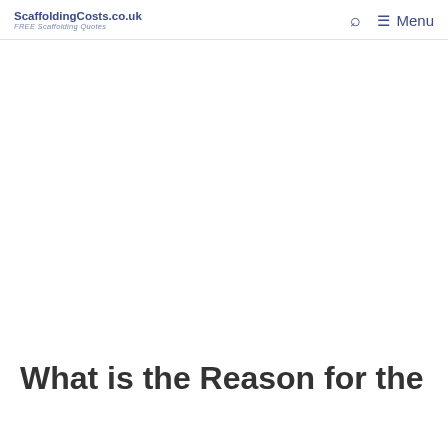ScaffoldingCosts.co.uk – FREE Scaffolding Quotes
What is the Reason for the